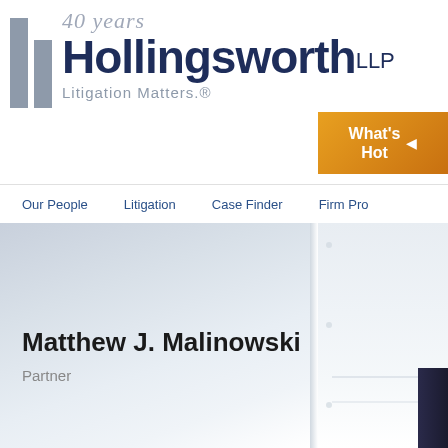[Figure (logo): Two vertical grey bars forming a logo mark on the left side of the header]
40 years Hollingsworth LLP
Litigation Matters.®
What's Hot
Our People   Litigation   Case Finder   Firm Pro...
[Figure (photo): Profile photo area with gradient background showing Matthew J. Malinowski, Partner, with a dark suited figure partially visible on the right]
Matthew J. Malinowski
Partner